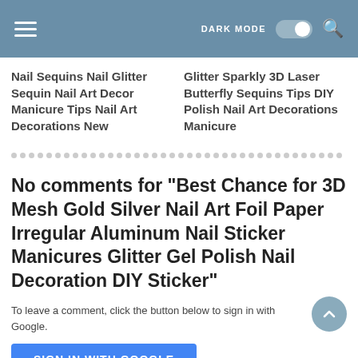DARK MODE [toggle] [search icon]
Nail Sequins Nail Glitter Sequin Nail Art Decor Manicure Tips Nail Art Decorations New
Glitter Sparkly 3D Laser Butterfly Sequins Tips DIY Polish Nail Art Decorations Manicure
No comments for "Best Chance for 3D Mesh Gold Silver Nail Art Foil Paper Irregular Aluminum Nail Sticker Manicures Glitter Gel Polish Nail Decoration DIY Sticker"
To leave a comment, click the button below to sign in with Google.
SIGN IN WITH GOOGLE